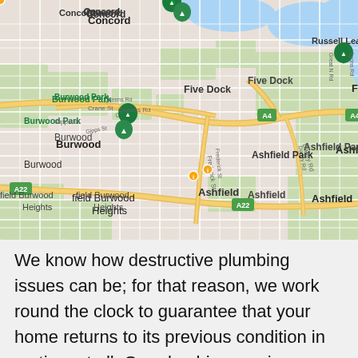[Figure (map): Google Maps screenshot showing suburbs of inner-west Sydney, Australia, including Concord, Russell Lea, Callan, Burwood Park, Five Dock, Rodd Point, Burwood, Ashfield Park, Ashfield, Burwood Heights, Leichhardt, and Petersham Park. Roads A4 and A22 are visible. Multiple green park location pins are shown.]
We know how destructive plumbing issues can be; for that reason, we work round the clock to guarantee that your home returns to its previous condition in no time at all. Our plumbing services